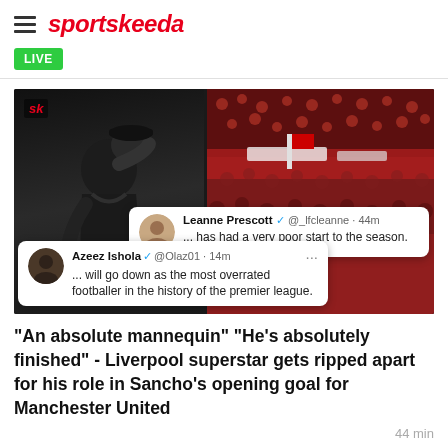sportskeeda
LIVE
[Figure (screenshot): Sports news image composite: left side shows a man in a black coat with face hidden, right side shows a football stadium packed with red-scarved fans. Two embedded tweet overlays are visible. Tweet 1: Leanne Prescott @_lfcleanne · 44m — '...has had a very poor start to the season.' Tweet 2: Azeez Ishola @Olaz01 · 14m — '...will go down as the most overrated footballer in the history of the premier league.' with '...' menu icon.]
"An absolute mannequin" "He's absolutely finished" - Liverpool superstar gets ripped apart for his role in Sancho's opening goal for Manchester United
44 min